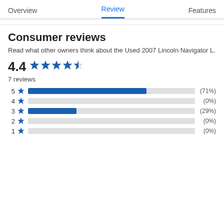Overview  Review  Features
Consumer reviews
Read what other owners think about the Used 2007 Lincoln Navigator L.
4.4 ★★★★½  7 reviews
[Figure (bar-chart): Rating distribution]